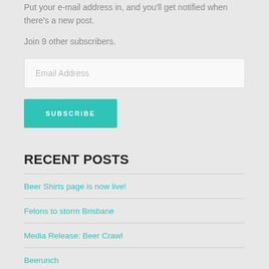Put your e-mail address in, and you'll get notified when there's a new post.
Join 9 other subscribers.
Email Address
SUBSCRIBE
RECENT POSTS
Beer Shirts page is now live!
Felons to storm Brisbane
Media Release: Beer Crawl
Beerunch